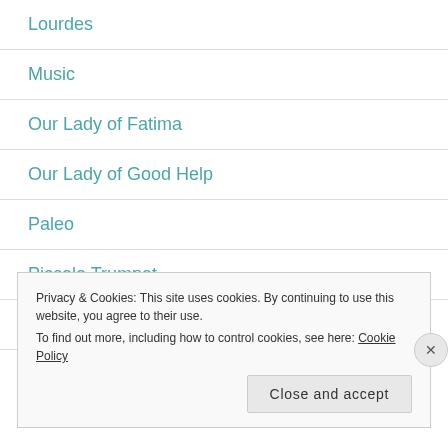Lourdes
Music
Our Lady of Fatima
Our Lady of Good Help
Paleo
Piccolo Trumpet
Prayer
Privacy & Cookies: This site uses cookies. By continuing to use this website, you agree to their use. To find out more, including how to control cookies, see here: Cookie Policy
Close and accept